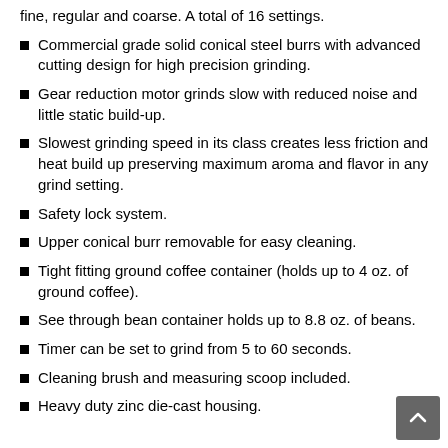fine, regular and coarse. A total of 16 settings.
Commercial grade solid conical steel burrs with advanced cutting design for high precision grinding.
Gear reduction motor grinds slow with reduced noise and little static build-up.
Slowest grinding speed in its class creates less friction and heat build up preserving maximum aroma and flavor in any grind setting.
Safety lock system.
Upper conical burr removable for easy cleaning.
Tight fitting ground coffee container (holds up to 4 oz. of ground coffee).
See through bean container holds up to 8.8 oz. of beans.
Timer can be set to grind from 5 to 60 seconds.
Cleaning brush and measuring scoop included.
Heavy duty zinc die-cast housing.